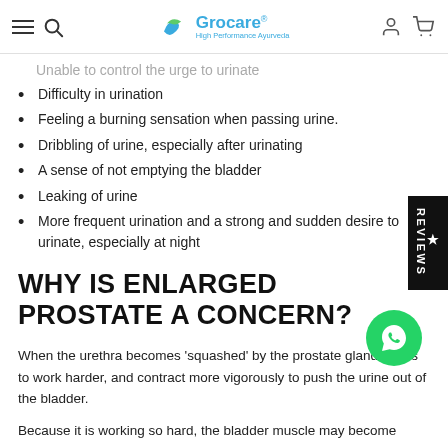Grocare — High Performance Ayurveda (navigation bar)
Unable to control the urge to urinate
Difficulty in urination
Feeling a burning sensation when passing urine.
Dribbling of urine, especially after urinating
A sense of not emptying the bladder
Leaking of urine
More frequent urination and a strong and sudden desire to urinate, especially at night
WHY IS ENLARGED PROSTATE A CONCERN?
When the urethra becomes 'squashed' by the prostate gland, it has to work harder, and contract more vigorously to push the urine out of the bladder.
Because it is working so hard, the bladder muscle may become